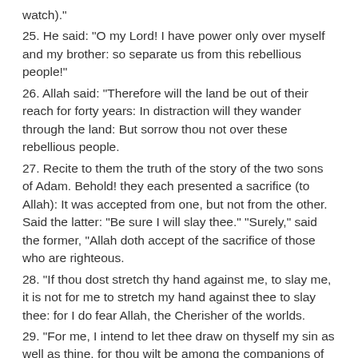watch)."
25. He said: "O my Lord! I have power only over myself and my brother: so separate us from this rebellious people!"
26. Allah said: "Therefore will the land be out of their reach for forty years: In distraction will they wander through the land: But sorrow thou not over these rebellious people.
27. Recite to them the truth of the story of the two sons of Adam. Behold! they each presented a sacrifice (to Allah): It was accepted from one, but not from the other. Said the latter: "Be sure I will slay thee." "Surely," said the former, "Allah doth accept of the sacrifice of those who are righteous.
28. "If thou dost stretch thy hand against me, to slay me, it is not for me to stretch my hand against thee to slay thee: for I do fear Allah, the Cherisher of the worlds.
29. "For me, I intend to let thee draw on thyself my sin as well as thine, for thou wilt be among the companions of